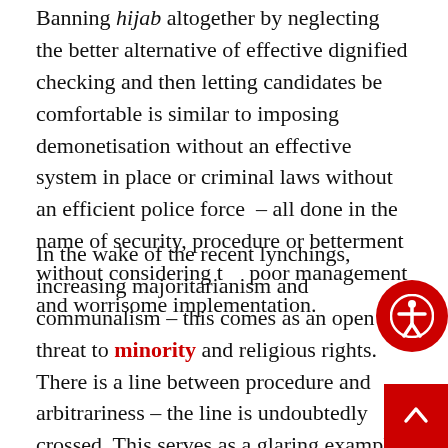Banning hijab altogether by neglecting the better alternative of effective dignified checking and then letting candidates be comfortable is similar to imposing demonetisation without an effective system in place or criminal laws without an efficient police force – all done in the name of security, procedure or betterment without considering the poor management and worrisome implementation.
In the wake of the recent lynchings, increasing majoritarianism and communalism – this comes as an open threat to minority and religious rights. There is a line between procedure and arbitrariness – the line is undoubtedly crossed. This serves as a glaring example of structural and institutional discrimination where the parallel can be drawn from how African American's are punished for having an Afro or how European Jews were forced to cease